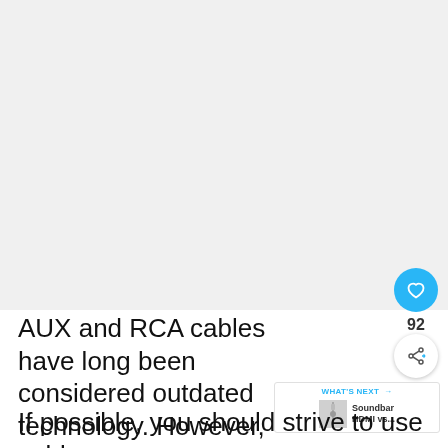[Figure (photo): Large image placeholder area at the top of the page, appearing white/light gray]
[Figure (infographic): Like button (blue circle with heart icon), like count '92', and share button (white circle with share icon)]
[Figure (infographic): What's Next bar showing 'WHAT'S NEXT →' label and 'Soundbar HDMI vs...' thumbnail and text]
AUX and RCA cables have long been considered outdated technology. However, many of the older televisions still u
If possible, you should strive to use cables